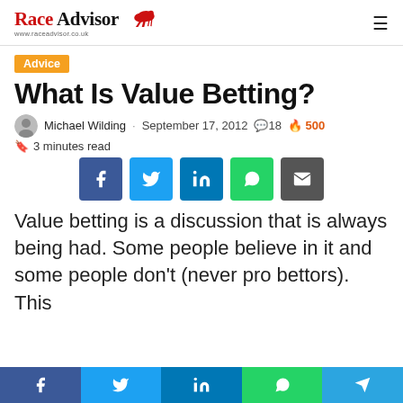Race Advisor — www.raceadvisor.co.uk
Advice
What Is Value Betting?
Michael Wilding · September 17, 2012 · 18 comments · 500 🔥
🔖 3 minutes read
[Figure (infographic): Social share buttons: Facebook, Twitter, LinkedIn, WhatsApp, Email]
Value betting is a discussion that is always being had. Some people believe in it and some people don't (never pro bettors). This
Bottom share bar: Facebook, Twitter, LinkedIn, WhatsApp, Telegram